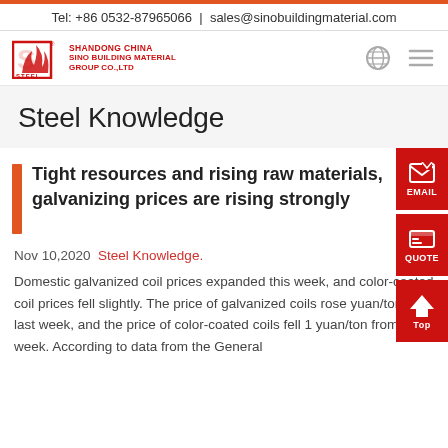Tel: +86 0532-87965066 | sales@sinobuildingmaterial.com
[Figure (logo): Sino Building Material Group Co.,Ltd logo with red steel mark and company name in red text: SHANDONG CHINA / SINO BUILDING MATERIAL / GROUP CO.,LTD]
Steel Knowledge
Tight resources and rising raw materials, galvanizing prices are rising strongly
Nov 10,2020  Steel Knowledge.
Domestic galvanized coil prices expanded this week, and color-coated coil prices fell slightly. The price of galvanized coils rose yuan/ton from last week, and the price of color-coated coils fell 1 yuan/ton from last week. According to data from the General